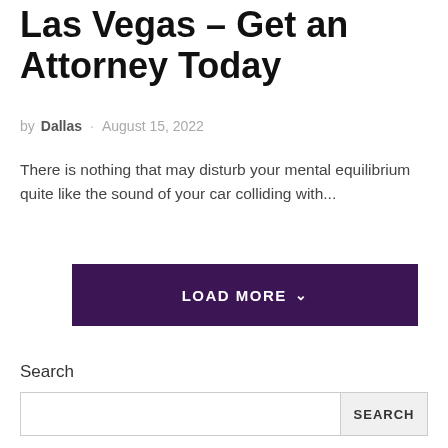Las Vegas – Get an Attorney Today
by Dallas · August 15, 2022
There is nothing that may disturb your mental equilibrium quite like the sound of your car colliding with...
LOAD MORE
Search
SEARCH